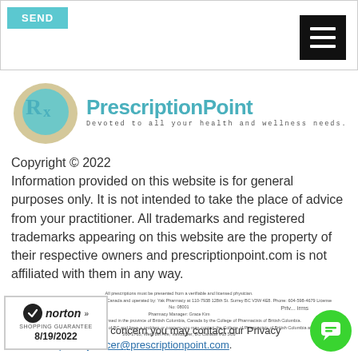[Figure (screenshot): Top navigation bar with SEND button (teal) and hamburger menu icon (black)]
[Figure (logo): PrescriptionPoint logo with Rx symbol in teal/beige oval and text 'PrescriptionPoint - Devoted to all your health and wellness needs.']
Copyright © 2022
Information provided on this website is for general purposes only. It is not intended to take the place of advice from your practitioner. All trademarks and registered trademarks appearing on this website are the property of their respective owners and prescriptionpoint.com is not affiliated with them in any way.
All prescriptions must be presented from a verifiable and licensed physician.
Prescription Medications dispensed from Canada and operated by: Yak Pharmacy at 110-7938 128th St. Surrey BC V3W 4E8. Phone: 604-598-4679 License No: 08001
Pharmacy Manager: Grace Kim
This pharmacy is duly licensed in the province of British Columbia, Canada by the College of Pharmacists of British Columbia.
If you are a patient from outside of BC and have a problem or concern you may contact the College of Pharmacists of British Columbia at:
200-1765, West 8th Ave, Vancouver, BC Canada V6J 5C6
If you have a Privacy concern you may contact our Privacy Officer at: privacyofficer@prescriptionpoint.com.
[Figure (logo): Norton Shopping Guarantee badge dated 8/19/2022]
[Figure (other): Green chat bubble button]